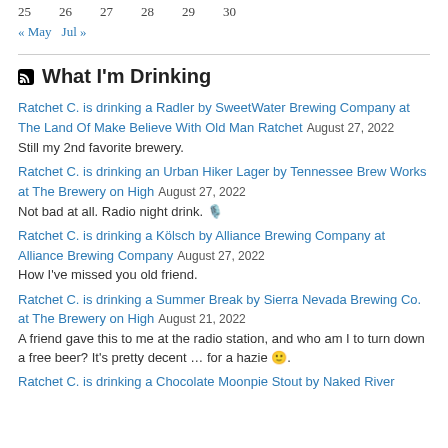25  26  27  28  29  30
« May   Jul »
What I'm Drinking
Ratchet C. is drinking a Radler by SweetWater Brewing Company at The Land Of Make Believe With Old Man Ratchet August 27, 2022
Still my 2nd favorite brewery.
Ratchet C. is drinking an Urban Hiker Lager by Tennessee Brew Works at The Brewery on High August 27, 2022
Not bad at all. Radio night drink. 🎙️
Ratchet C. is drinking a Kölsch by Alliance Brewing Company at Alliance Brewing Company August 27, 2022
How I've missed you old friend.
Ratchet C. is drinking a Summer Break by Sierra Nevada Brewing Co. at The Brewery on High August 21, 2022
A friend gave this to me at the radio station, and who am I to turn down a free beer? It's pretty decent … for a hazie 🙂.
Ratchet C. is drinking a Chocolate Moonpie Stout by Naked River Brewing Company at The Land Of Make Believe With Old Man Ratchet